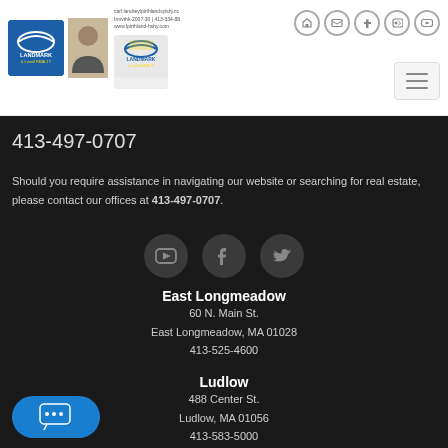[Figure (logo): Landmark & Lovell Realty logo with agent photo and contact info]
413-497-0707
Should you require assistance in navigating our website or searching for real estate, please contact our offices at 413-497-0707.
[Figure (infographic): Social media icons: YouTube, Facebook, Twitter]
East Longmeadow
60 N. Main St.
East Longmeadow, MA 01028
413-525-4600
Ludlow
488 Center St.
Ludlow, MA 01056
413-583-5000